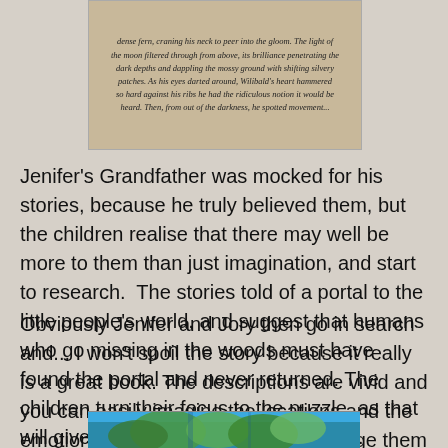[Figure (photo): A photograph of a printed book page showing italic text describing a character named Wilibald craning his neck to peer into the gloom, with moonlight filtering through from above, and then spotting movement from out of the darkness.]
Jenifer's Grandfather was mocked for his stories, because he truly believed them, but the children realise that there may well be more to them than just imagination, and start to research.  The stories told of a portal to the little people's world, and suggest that humans who go missing in the woods must have found the portal and never returned. The children turn their focus to the puzzle, as that will give them the answers they need...
Obviously Jenifer and Jory then go in search and... I won't spoil the story because it really is a great book. The descriptions are vivid and you can easily imagine the locations and the emotions that the children feel. You urge them on and later in the book are really aware of the time pressure they are under. No-one wants to be late home...
[Figure (photo): Partial view of a book cover showing colorful leaf/nature imagery with blue and green tones, cropped at the bottom of the page.]